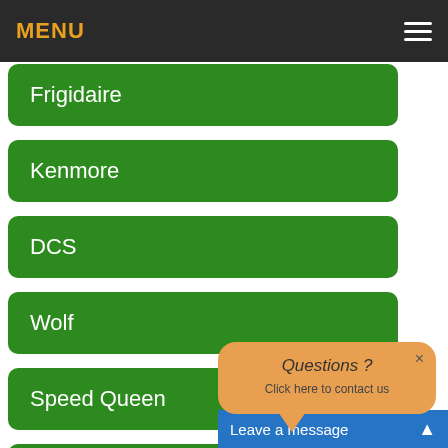MENU
Frigidaire
Kenmore
DCS
Wolf
Speed Queen
Fisher & Pay[ke]
[Figure (other): Orange speech bubble popup overlay with text 'Questions ? Click here to contact us' and a close button]
Leave a message